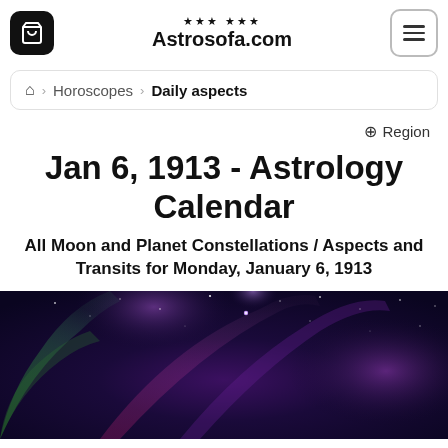Astrosofa.com
Home > Horoscopes > Daily aspects
Region
Jan 6, 1913 - Astrology Calendar
All Moon and Planet Constellations / Aspects and Transits for Monday, January 6, 1913
[Figure (photo): Northern lights / aurora borealis night sky with purple, green, and magenta hues and stars]